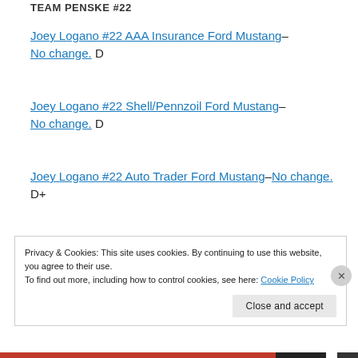TEAM PENSKE #22
Joey Logano #22 AAA Insurance Ford Mustang– No change. D
Joey Logano #22 Shell/Pennzoil Ford Mustang– No change. D
Joey Logano #22 Auto Trader Ford Mustang–No change. D+
Privacy & Cookies: This site uses cookies. By continuing to use this website, you agree to their use.
To find out more, including how to control cookies, see here: Cookie Policy
Close and accept